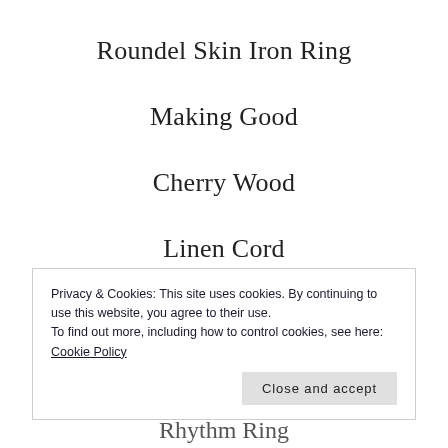Roundel Skin Iron Ring
Making Good
Cherry Wood
Linen Cord
Tuning  String
Mood of shite
Privacy & Cookies: This site uses cookies. By continuing to use this website, you agree to their use.
To find out more, including how to control cookies, see here: Cookie Policy
Rhythm Ring